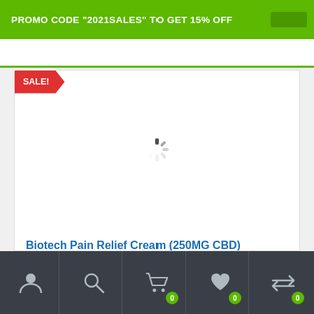PROMO CODE "2021SALES" TO GET 15% OFF
[Figure (screenshot): Product card showing loading spinner for Biotech Pain Relief Cream (250MG CBD) with a red SALE! ribbon badge]
Biotech Pain Relief Cream (250MG CBD)